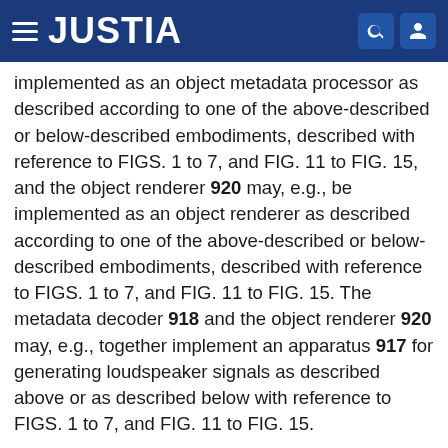JUSTIA
implemented as an object metadata processor as described according to one of the above-described or below-described embodiments, described with reference to FIGS. 1 to 7, and FIG. 11 to FIG. 15, and the object renderer 920 may, e.g., be implemented as an object renderer as described according to one of the above-described or below-described embodiments, described with reference to FIGS. 1 to 7, and FIG. 11 to FIG. 15. The metadata decoder 918 and the object renderer 920 may, e.g., together implement an apparatus 917 for generating loudspeaker signals as described above or as described below with reference to FIGS. 1 to 7, and FIG. 11 to FIG. 15.
If both channel based content as well as discrete/parametric objects are decoded, the channel based waveforms and the rendered object waveforms